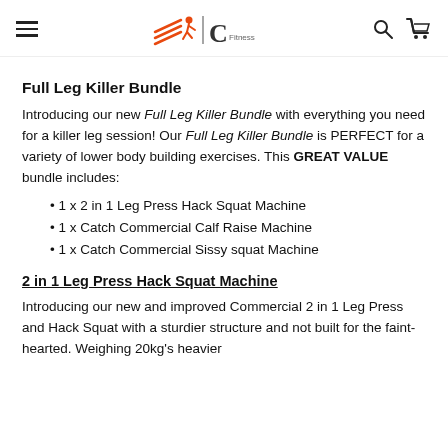AC Fitness (logo/navigation header)
Full Leg Killer Bundle
Introducing our new Full Leg Killer Bundle with everything you need for a killer leg session! Our Full Leg Killer Bundle is PERFECT for a variety of lower body building exercises. This GREAT VALUE bundle includes:
1 x 2 in 1 Leg Press Hack Squat Machine
1 x Catch Commercial Calf Raise Machine
1 x Catch Commercial Sissy squat Machine
2 in 1 Leg Press Hack Squat Machine
Introducing our new and improved Commercial 2 in 1 Leg Press and Hack Squat with a sturdier structure and not built for the faint-hearted. Weighing 20kg's heavier